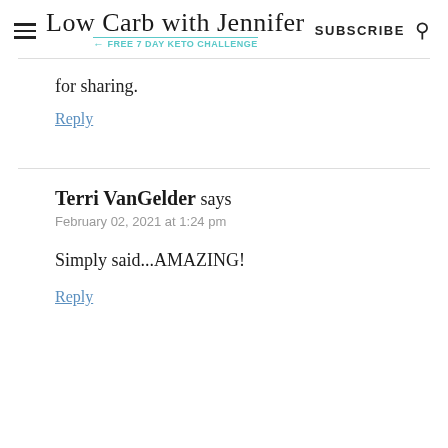Low Carb with Jennifer — FREE 7 DAY KETO CHALLENGE | SUBSCRIBE
for sharing.
Reply
Terri VanGelder says
February 02, 2021 at 1:24 pm
Simply said...AMAZING!
Reply